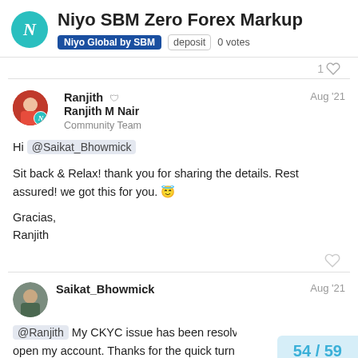Niyo SBM Zero Forex Markup — Niyo Global by SBM | deposit | 0 votes
1 (heart)
Ranjith — Ranjith M Nair — Community Team — Aug '21
Hi @Saikat_Bhowmick

Sit back & Relax! thank you for sharing the details. Rest assured! we got this for you. 😇

Gracias,
Ranjith
Saikat_Bhowmick — Aug '21
@Ranjith My CKYC issue has been resolved open my account. Thanks for the quick turn
54 / 59